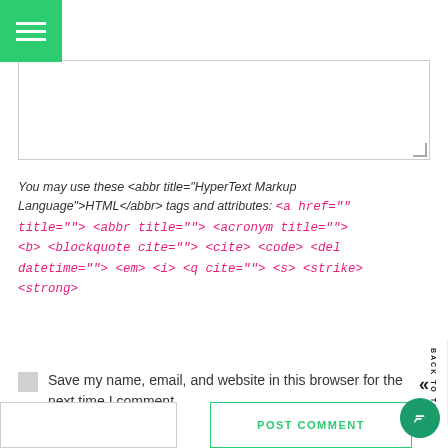[Figure (screenshot): Green hamburger menu button top-left corner]
You may use these <abbr title="HyperText Markup Language">HTML</abbr> tags and attributes: <a href="" title=""> <abbr title=""> <acronym title=""> <b> <blockquote cite=""> <cite> <code> <del datetime=""> <em> <i> <q cite=""> <s> <strike> <strong>
Save my name, email, and website in this browser for the next time I comment.
POST COMMENT